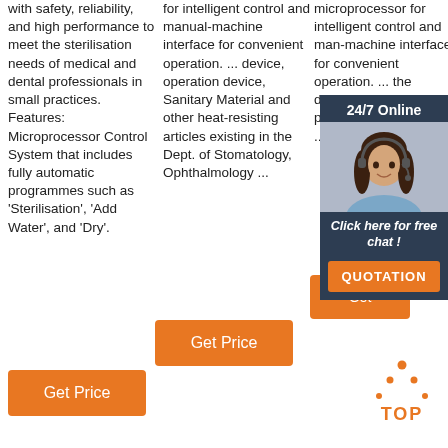with safety, reliability, and high performance to meet the sterilisation needs of medical and dental professionals in small practices. Features: Microprocessor Control System that includes fully automatic programmes such as 'Sterilisation', 'Add Water', and 'Dry'.
for intelligent control and manual-machine interface for convenient operation. ... device, operation device, Sanitary Material and other heat-resisting articles existing in the Dept. of Stomatology, Ophthalmology ...
microprocessor for intelligent control and man-machine interface for convenient operation. ... the display, display parameters, conditions ...
[Figure (photo): 24/7 Online chat overlay with a woman wearing a headset, dark blue background, orange QUOTATION button and 'Click here for free chat!' text]
Get Price
Get Price
Get Price
[Figure (logo): TOP logo with orange dotted triangle and orange text reading TOP]